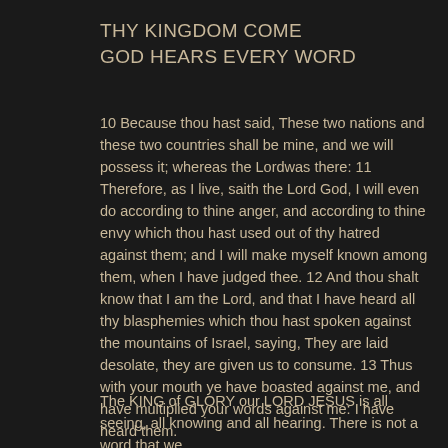THY KINGDOM COME
GOD HEARS EVERY WORD
10 Because thou hast said, These two nations and these two countries shall be mine, and we will possess it; whereas the Lordwas there:
11 Therefore, as I live, saith the Lord God, I will even do according to thine anger, and according to thine envy which thou hast used out of thy hatred against them; and I will make myself known among them, when I have judged thee.
12 And thou shalt know that I am the Lord, and that I have heard all thy blasphemies which thou hast spoken against the mountains of Israel, saying, They are laid desolate, they are given us to consume.
13 Thus with your mouth ye have boasted against me, and have multiplied your words against me: I have heard them.
The KING of GLORY our LORD JESUS is all seeing, all knowing and all hearing. There is not a word that we